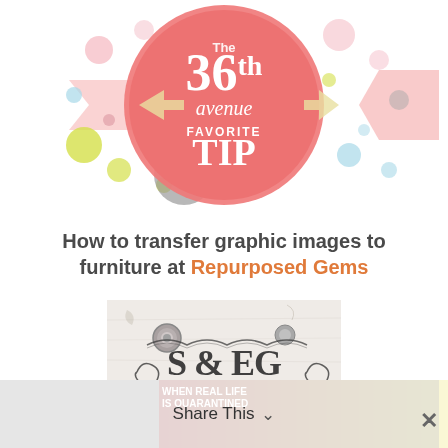[Figure (logo): The 36th Avenue Favorite Tip badge/logo — pink circular badge with decorative dots and banner ribbons, text reads '36th avenue FAVORITE TIP']
How to transfer graphic images to furniture at Repurposed Gems
[Figure (photo): Close-up photo of a distressed white painted furniture piece (dresser) with black decorative graphic transfer showing ornate Victorian-style text and flourishes including 'S & GEMS']
[Figure (screenshot): Advertisement banner at bottom: colorful rainbow gradient ad with text 'WHEN REAL LIFE IS QUARANTINED' with animated character, overlaid with Share This button and close X button]